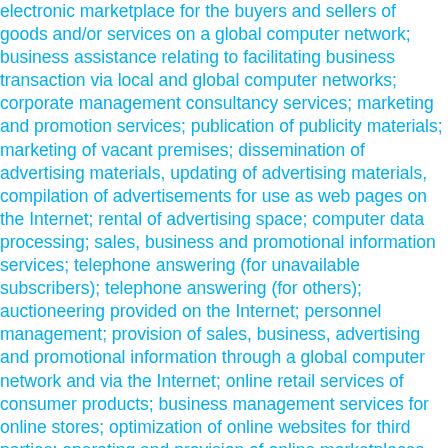electronic marketplace for the buyers and sellers of goods and/or services on a global computer network; business assistance relating to facilitating business transaction via local and global computer networks; corporate management consultancy services; marketing and promotion services; publication of publicity materials; marketing of vacant premises; dissemination of advertising materials, updating of advertising materials, compilation of advertisements for use as web pages on the Internet; rental of advertising space; computer data processing; sales, business and promotional information services; telephone answering (for unavailable subscribers); telephone answering (for others); auctioneering provided on the Internet; personnel management; provision of sales, business, advertising and promotional information through a global computer network and via the Internet; online retail services of consumer products; business management services for online stores; optimization of online websites for third parties; operating and provision of online marketplaces and software application based marketplaces for sellers and